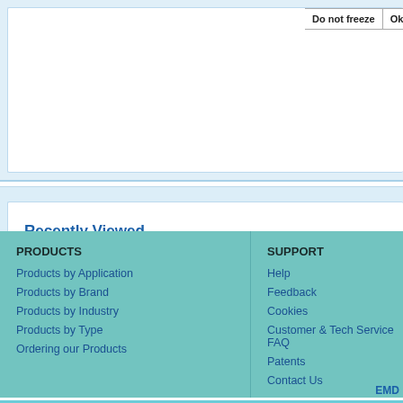| Do not freeze | Ok to f |
| --- | --- |
Recently Viewed
PRODUCTS
Products by Application
Products by Brand
Products by Industry
Products by Type
Ordering our Products
SUPPORT
Help
Feedback
Cookies
Customer & Tech Service FAQ
Patents
Contact Us
EMD